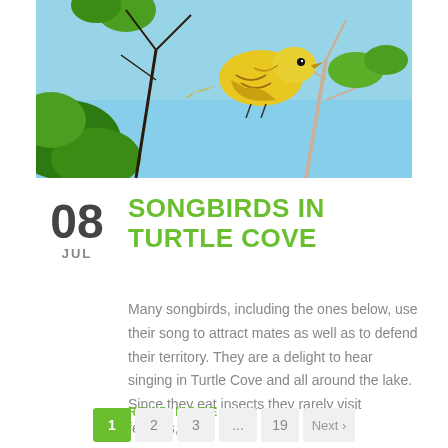[Figure (photo): A yellow songbird perched on a bare tree branch with green leaves against a blue sky background]
08 JUL — SONGBIRDS IN TURTLE COVE
Many songbirds, including the ones below, use their song to attract mates as well as to defend their territory. They are a delight to hear singing in Turtle Cove and all around the lake. Since they eat insects they rarely visit feeders,…
READ MORE
1 2 3 ... 19 Next ›